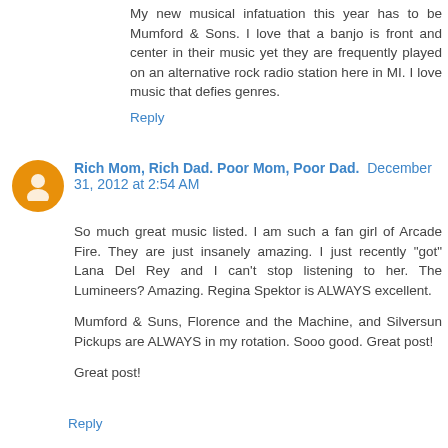My new musical infatuation this year has to be Mumford & Sons. I love that a banjo is front and center in their music yet they are frequently played on an alternative rock radio station here in MI. I love music that defies genres.
Reply
Rich Mom, Rich Dad. Poor Mom, Poor Dad.  December 31, 2012 at 2:54 AM
So much great music listed. I am such a fan girl of Arcade Fire. They are just insanely amazing. I just recently "got" Lana Del Rey and I can't stop listening to her. The Lumineers? Amazing. Regina Spektor is ALWAYS excellent.
Mumford & Suns, Florence and the Machine, and Silversun Pickups are ALWAYS in my rotation. Sooo good. Great post!
Great post!
Reply